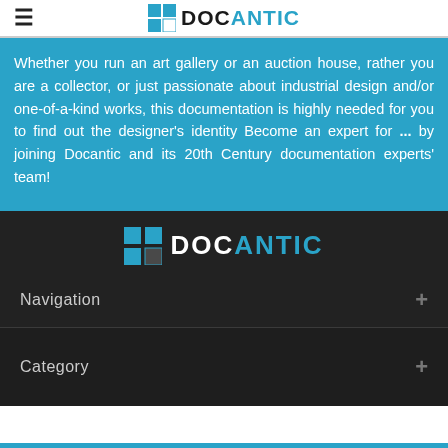≡ DOCANTIC
Whether you run an art gallery or an auction house, rather you are a collector, or just passionate about industrial design and/or one-of-a-kind works, this documentation is highly needed for you to find out the designer's identity Become an expert for ... by joining Docantic and its 20th Century documentation experts' team!
[Figure (logo): Docantic logo with square icon and text DOC in white and ANTIC in teal on dark background]
Navigation +
Category +